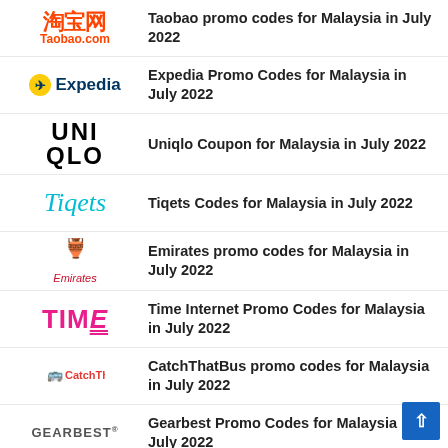Taobao promo codes for Malaysia in July 2022
Expedia Promo Codes for Malaysia in July 2022
Uniqlo Coupon for Malaysia in July 2022
Tiqets Codes for Malaysia in July 2022
Emirates promo codes for Malaysia in July 2022
Time Internet Promo Codes for Malaysia in July 2022
CatchThatBus promo codes for Malaysia in July 2022
Gearbest Promo Codes for Malaysia in July 2022
Senheng Discount Codes for Malaysia in July 2022